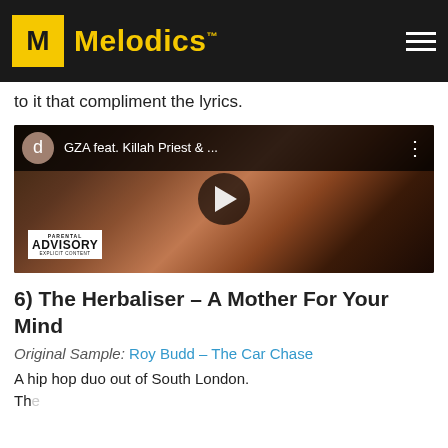Melodics
with the same name lives up to its ... This track has an almost atmospheric and film score feel to it that compliment the lyrics.
[Figure (screenshot): YouTube video thumbnail for GZA feat. Killah Priest & ... with play button, parental advisory label, and dark earthy background]
6) The Herbaliser – A Mother For Your Mind
Original Sample: Roy Budd – The Car Chase
A hip hop duo out of South London. The...